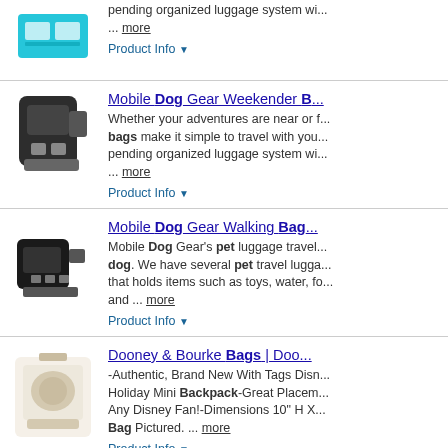... more | Product Info
Mobile Dog Gear Weekender B... Whether your adventures are near or f... bags make it simple to travel with you... pending organized luggage system wi... ... more | Product Info
Mobile Dog Gear Walking Bag Mobile Dog Gear's pet luggage travel dog. We have several pet travel lugga that holds items such as toys, water, fo and ... more | Product Info
Dooney & Bourke Bags | Doo -Authentic, Brand New With Tags Disn Holiday Mini Backpack-Great Placem Any Disney Fan!-Dimensions 10" H X Bag Pictured. ... more | Product Info
Pet Travel Mobile Dog Gear B The Mobile Dog Gear Bundle Packs m and everything they will need for your